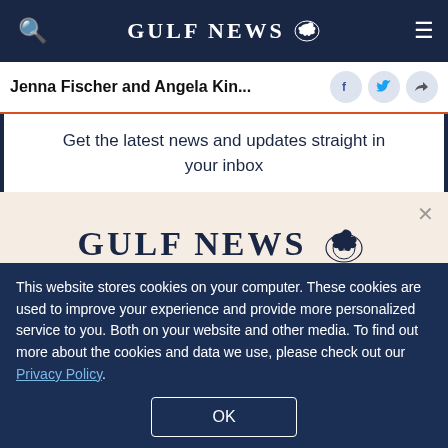GULF NEWS
Jenna Fischer and Angela Kin...
Get the latest news and updates straight in your inbox
[Figure (logo): Gulf News logo with eagle emblem]
A special offer for our readers
Get the two years All-Access subscription now
This website stores cookies on your computer. These cookies are used to improve your experience and provide more personalized service to you. Both on your website and other media. To find out more about the cookies and data we use, please check out our Privacy Policy.
OK